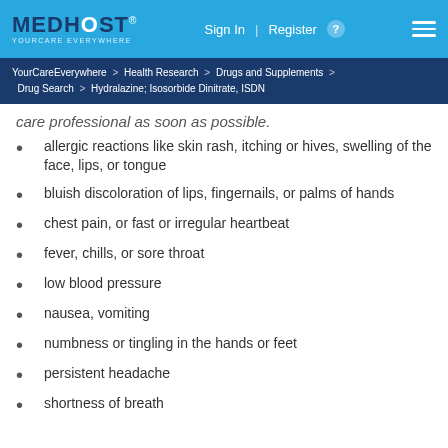MEDHOST YOURCARE EVERYWHERE | Sign In | Register | (menu)
YourCareEverywhere > Health Research > Drugs and Supplements > Drug Search > Hydralazine; Isosorbide Dinitrate, ISDN
care professional as soon as possible.
allergic reactions like skin rash, itching or hives, swelling of the face, lips, or tongue
bluish discoloration of lips, fingernails, or palms of hands
chest pain, or fast or irregular heartbeat
fever, chills, or sore throat
low blood pressure
nausea, vomiting
numbness or tingling in the hands or feet
persistent headache
shortness of breath